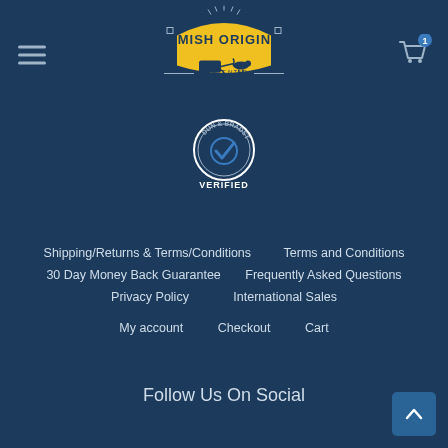[Figure (logo): Amish Origins Authentic logo — yellow banner with dark blue text, horse and buggy silhouette, decorative border]
[Figure (logo): Dun & Bradstreet Verified badge — circular seal with checkmark]
Shipping/Returns & Terms/Conditions
Terms and Conditions
30 Day Money Back Guarantee
Frequently Asked Questions
Privacy Policy
International Sales
My account
Checkout
Cart
Follow Us On Social